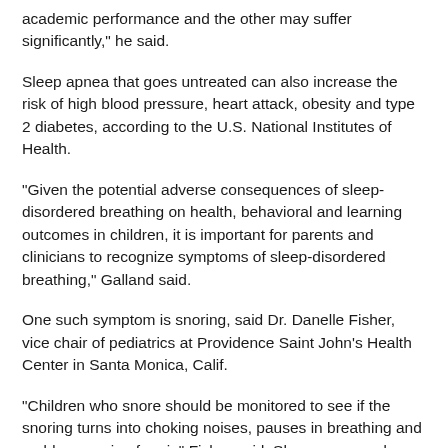academic performance and the other may suffer significantly," he said.
Sleep apnea that goes untreated can also increase the risk of high blood pressure, heart attack, obesity and type 2 diabetes, according to the U.S. National Institutes of Health.
"Given the potential adverse consequences of sleep-disordered breathing on health, behavioral and learning outcomes in children, it is important for parents and clinicians to recognize symptoms of sleep-disordered breathing," Galland said.
One such symptom is snoring, said Dr. Danelle Fisher, vice chair of pediatrics at Providence Saint John's Health Center in Santa Monica, Calif.
"Children who snore should be monitored to see if the snoring turns into choking noises, pauses in breathing and sudden gasping for air," Fisher said. She recommends parents talk to their child's pediatrician about snoring or similar symptoms.
Even a child without clear snoring may show others symptoms